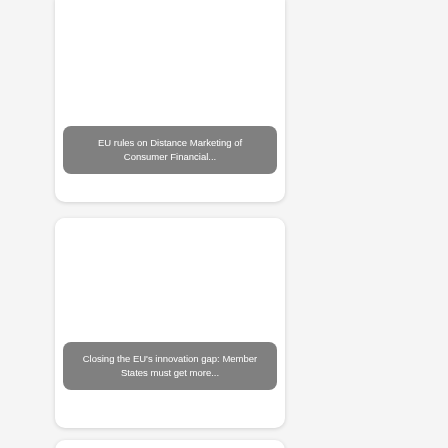[Figure (illustration): Card with image area (white/blank) and dark rounded label overlay reading 'EU rules on Distance Marketing of Consumer Financial...']
EU rules on Distance Marketing of Consumer Financial...
[Figure (illustration): Card with image area (white/blank) and dark rounded label overlay reading 'Closing the EU's innovation gap: Member States must get more...']
Closing the EU's innovation gap: Member States must get more...